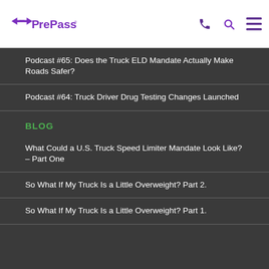PrePass
Podcast #65: Does the Truck ELD Mandate Actually Make Roads Safer?
Podcast #64: Truck Driver Drug Testing Changes Launched
BLOG
What Could a U.S. Truck Speed Limiter Mandate Look Like? – Part One
So What If My Truck Is a Little Overweight? Part 2.
So What If My Truck Is a Little Overweight? Part 1.